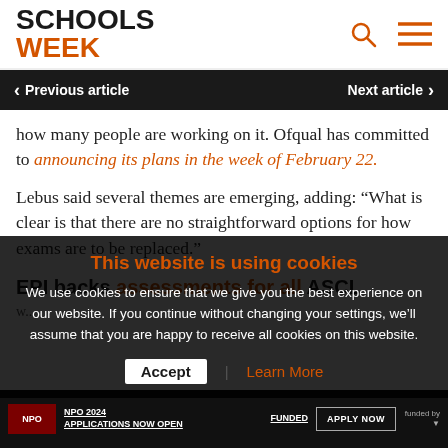SCHOOLS WEEK
Previous article | Next article
how many people are working on it. Ofqual has committed to announcing its plans in the week of February 22.
Lebus said several themes are emerging, adding: “What is clear is that there are no straightforward options for how exams are to be replaced.”
EPI backs assessments for all ASCL w...
This website is using cookies
We use cookies to ensure that we give you the best experience on our website. If you continue without changing your settings, we’ll assume that you are happy to receive all cookies on this website.
Accept | Learn More